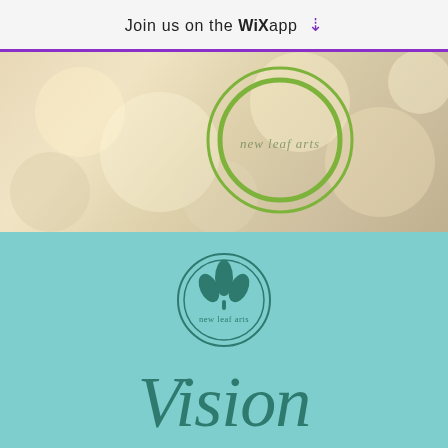Join us on the WiX app ⬇
[Figure (logo): New Leaf Arts logo in a double green circle ring over a warm bokeh background photo]
[Figure (logo): New Leaf Arts circular logo with teal leaf icon and text 'new leaf arts' on teal background]
Vision
Using the arts, we at New Leaf are on a mission to inspire people to better